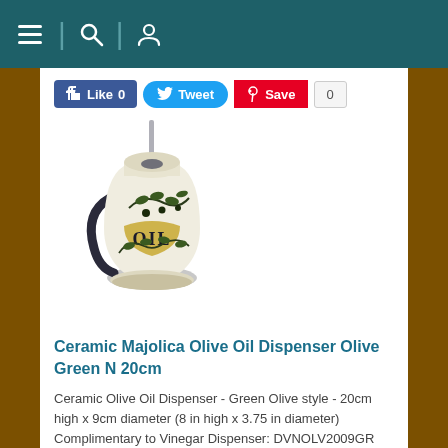Navigation bar with menu, search, and user icons
[Figure (screenshot): Social media buttons: Like 0 (Facebook blue), Tweet (Twitter blue), Save (Pinterest red) with count 0]
[Figure (photo): Ceramic Majolica Olive Oil Dispenser - a white ceramic jug with olive branch decoration and gold 'OIL' lettering, with a metal pouring spout on top]
Ceramic Majolica Olive Oil Dispenser Olive Green N 20cm
Ceramic Olive Oil Dispenser - Green Olive style - 20cm high x 9cm diameter (8 in high x 3.75 in diameter) Complimentary to Vinegar Dispenser: DVNOLV2009GR
Quantity 1